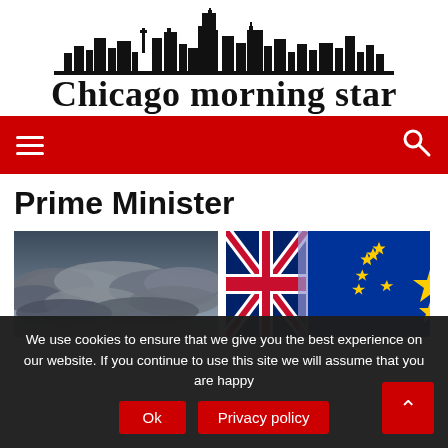[Figure (logo): Chicago morning star newspaper logo with city skyline silhouette above blackletter text]
≡  🔍
Prime Minister
[Figure (photo): Dark dramatic cloudy sky]
[Figure (photo): UK flag and EU flag side by side]
We use cookies to ensure that we give you the best experience on our website. If you continue to use this site we will assume that you are happy
Ok   Privacy policy